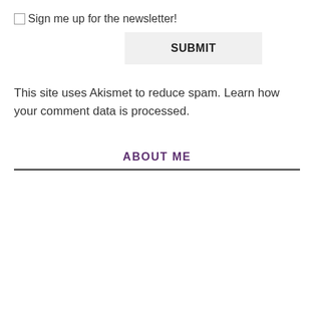□Sign me up for the newsletter!
SUBMIT
This site uses Akismet to reduce spam. Learn how your comment data is processed.
ABOUT ME